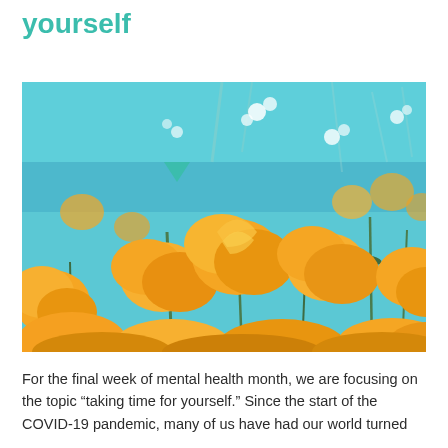yourself
[Figure (photo): Close-up photo of bright orange California poppy flowers against a vivid blue sky, shot from a low angle looking upward]
For the final week of mental health month, we are focusing on the topic “taking time for yourself.” Since the start of the COVID-19 pandemic, many of us have had our world turned